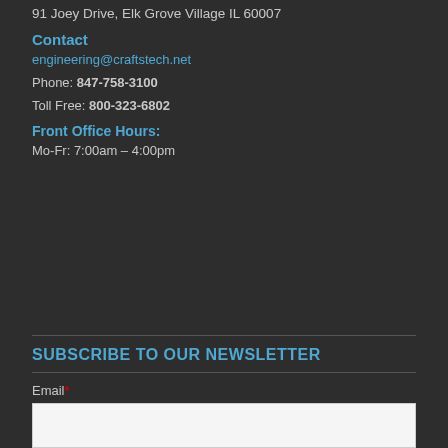91 Joey Drive, Elk Grove Village IL 60007
Contact
engineering@craftstech.net
Phone: 847-758-3100
Toll Free: 800-323-6802
Front Office Hours:
Mo-Fr: 7:00am – 4:00pm
SUBSCRIBE TO OUR NEWSLETTER
Email *